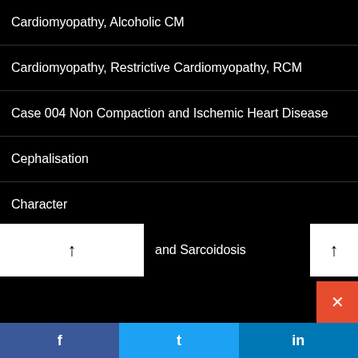Cardiomyopathy, Alcoholic CM
Cardiomyopathy, Restrictive Cardiomyopathy, RCM
Case 004 Non Compaction and Ischemic Heart Disease
Cephalisation
Character
Chest Pain ? MI
and Sarcoidosis
Chest Pain Atypical
Chest Pain Imaging Strategies
Chest Pain Overview
Chest Pain R/O PE
Chest X Ray Heart Parts Frontal View
f  t  in